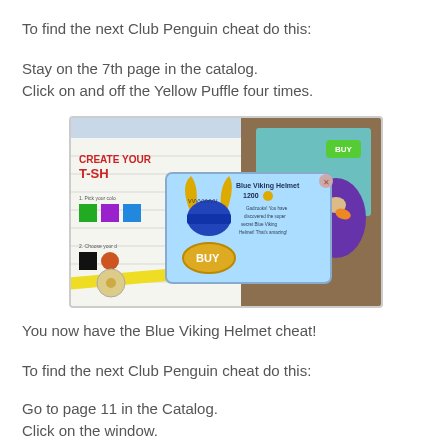To find the next Club Penguin cheat do this:
Stay on the 7th page in the catalog.
Click on and off the Yellow Puffle four times.
[Figure (screenshot): Screenshot of Club Penguin catalog showing a Blue Viking Helmet popup with price 1200 coins and a BUY button, overlaid on a Create Your T-Shirt page with a purple penguin visible.]
You now have the Blue Viking Helmet cheat!
To find the next Club Penguin cheat do this:
Go to page 11 in the Catalog.
Click on the window.